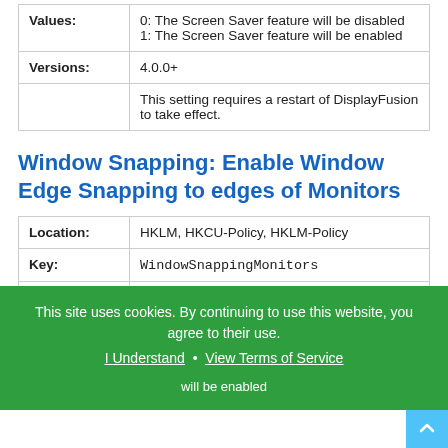| Values: | 0: The Screen Saver feature will be disabled
1: The Screen Saver feature will be enabled |
| Versions: | 4.0.0+ |
|  | This setting requires a restart of DisplayFusion to take effect. |
Window Snapping: Enable Window Edge Snapping to edges of Monitors
| Location: | HKLM, HKCU-Policy, HKLM-Policy |
| Key: | WindowSnappingMonitors |
| Type: | REG_SZ |
|  | 0: The "Enable Window Edge Snapping to ... will be enabled |
This site uses cookies. By continuing to use this website, you agree to their use. I Understand • View Terms of Service